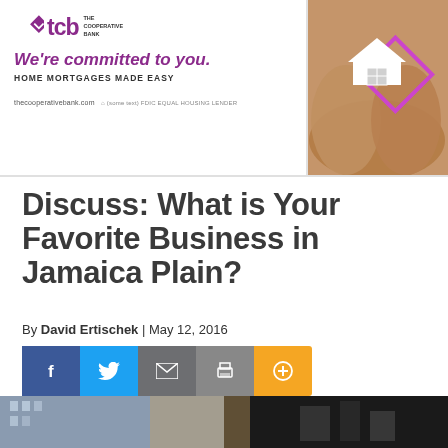[Figure (illustration): TCB The Cooperative Bank advertisement banner. Left side shows logo with purple diamond and 'tcb' text, tagline 'We're committed to you.' in purple, 'HOME MORTGAGES MADE EASY' in dark text, and website thecooperativebank.com. Right side shows hands holding a house icon with purple diamond border.]
Discuss: What is Your Favorite Business in Jamaica Plain?
By David Ertischek | May 12, 2016
[Figure (infographic): Social sharing buttons row: Facebook (blue), Twitter (light blue), Email (dark gray), Print (gray), Plus/More (orange)]
[Figure (photo): Partial bottom photo strip showing building and dark elements, cropped at page bottom]